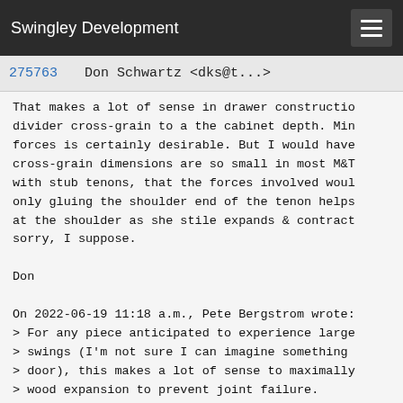Swingley Development
275763    Don Schwartz <dks@t...>
That makes a lot of sense in drawer constructio
divider cross-grain to a the cabinet depth. Min
forces is certainly desirable. But I would have
cross-grain dimensions are so small in most M&T
with stub tenons, that the forces involved wou
only gluing the shoulder end of the tenon helps
at the shoulder as she stile expands & contract
sorry, I suppose.

Don

On 2022-06-19 11:18 a.m., Pete Bergstrom wrote:
> For any piece anticipated to experience large
> swings (I'm not sure I can imagine something
> door), this makes a lot of sense to maximally
> wood expansion to prevent joint failure.
>
> While it's not a storm door, I just did a g